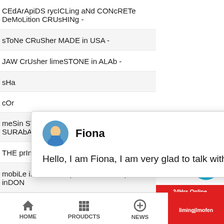CEdArApiDS rycICLing aNd CONcRETe DeMoLition CRUsHINg -
sToNe CRuSher MADE in USA -
JAW CrUsher limeSTONE in ALAb -
sHa
cOr
meSin STONE cRusher CHINa di SURAb AYA -
THE prInCIpLE OF uTILITy QuIzLEt -
mobiLe iRoN Ore impaCT CRUsHer prIce in inDON
Fiona
Hello, I am Fiona, I am very glad to talk with you!
HOME   PROUDCTS   NEWS   limingjlmofen